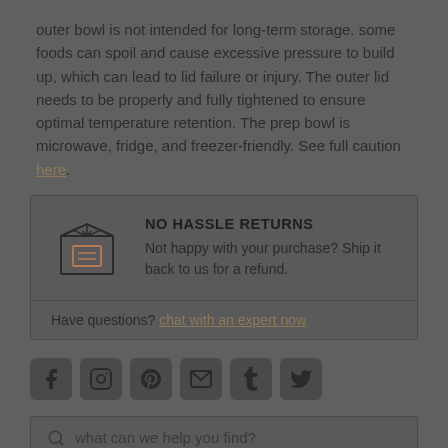outer bowl is not intended for long-term storage. some foods can spoil and cause excessive pressure to build up, which can lead to lid failure or injury. The outer lid needs to be properly and fully tightened to ensure optimal temperature retention. The prep bowl is microwave, fridge, and freezer-friendly. See full caution here.
NO HASSLE RETURNS
Not happy with your purchase? Ship it back to us for a refund.
Have questions? [link text redacted]
[Figure (infographic): Social media icons: Facebook, Instagram, Pinterest, email/envelope, Tumblr, Twitter]
what can we help you find?